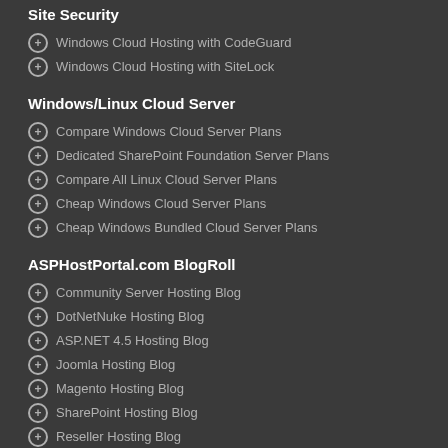Site Security
Windows Cloud Hosting with CodeGuard
Windows Cloud Hosting with SiteLock
Windows/Linux Cloud Server
Compare Windows Cloud Server Plans
Dedicated SharePoint Foundation Server Plans
Compare All Linux Cloud Server Plans
Cheap Windows Cloud Server Plans
Cheap Windows Bundled Cloud Server Plans
ASPHostPortal.com BlogRoll
Community Server Hosting Blog
DotNetNuke Hosting Blog
ASP.NET 4.5 Hosting Blog
Joomla Hosting Blog
Magento Hosting Blog
SharePoint Hosting Blog
Reseller Hosting Blog